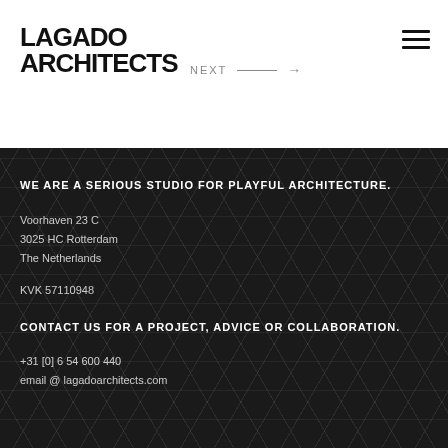[Figure (logo): Lagado Architects logo with bold geometric black text, two lines: LAGADO and ARCHITECTS, followed by NEXT with arrow]
WE ARE A SERIOUS STUDIO FOR PLAYFUL ARCHITECTURE.
Voorhaven 23 C
3025 HC Rotterdam
The Netherlands
KVK 57110948
CONTACT US FOR A PROJECT, ADVICE OR COLLABORATION.
+31 [0] 6 54 600 440
email @ lagadoarchitects.com